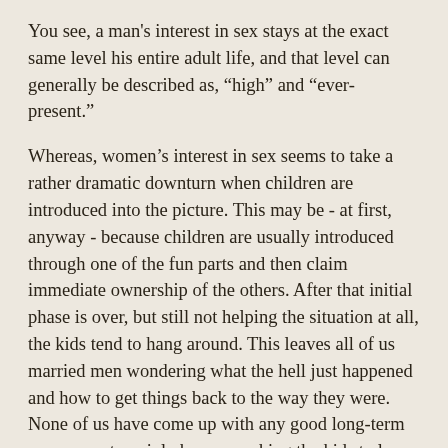You see, a man's interest in sex stays at the exact same level his entire adult life, and that level can generally be described as, “high” and “ever-present.”
Whereas, women’s interest in sex seems to take a rather dramatic downturn when children are introduced into the picture. This may be - at first, anyway - because children are usually introduced through one of the fun parts and then claim immediate ownership of the others. After that initial phase is over, but still not helping the situation at all, the kids tend to hang around. This leaves all of us married men wondering what the hell just happened and how to get things back to the way they were. None of us have come up with any good long-term answers yet, mainly because asking the kids to leave the house and not come back is frowned upon for the first eighteen or so years. So we swarm to any temporary solutions we hear of, and the aforementioned best-selling socially-acceptable book full of smut seemed to be one of those temporary solutions.
While my wife is well aware of our differences in what is an assumed good time for “it”, meaning she understands the